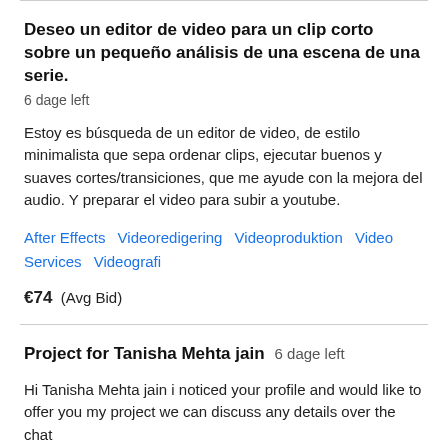Deseo un editor de video para un clip corto sobre un pequeño análisis de una escena de una serie.
6 dage left
Estoy es búsqueda de un editor de video, de estilo minimalista que sepa ordenar clips, ejecutar buenos y suaves cortes/transiciones, que me ayude con la mejora del audio. Y preparar el video para subir a youtube.
After Effects   Videoredigering   Videoproduktion   Video Services   Videografi
€74  (Avg Bid)
Project for Tanisha Mehta jain  6 dage left
Hi Tanisha Mehta jain i noticed your profile and would like to offer you my project we can discuss any details over the chat